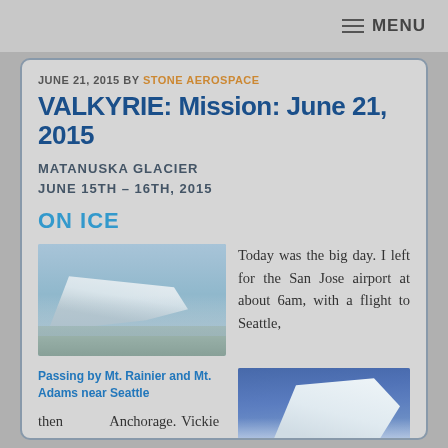MENU
JUNE 21, 2015 BY STONE AEROSPACE
VALKYRIE: Mission: June 21, 2015
MATANUSKA GLACIER
JUNE 15TH – 16TH, 2015
ON ICE
[Figure (photo): Aerial view of airplane wing over water and land]
Passing by Mt. Rainier and Mt. Adams near Seattle
Today was the big day. I left for the San Jose airport at about 6am, with a flight to Seattle,
then Anchorage. Vickie was kind enough to book me with window seats
[Figure (photo): Airplane wing over clouds and sky near Seattle]